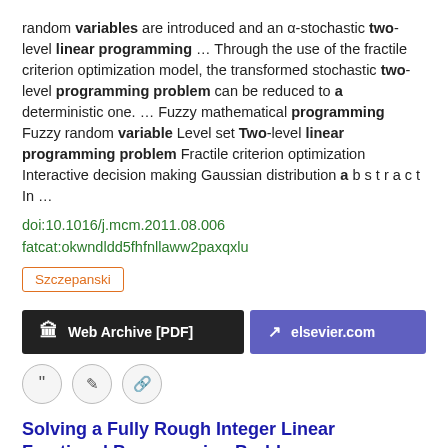random variables are introduced and an α-stochastic two-level linear programming  ...  Through the use of the fractile criterion optimization model, the transformed stochastic two-level programming problem can be reduced to a deterministic one.  ...  Fuzzy mathematical programming Fuzzy random variable Level set Two-level linear programming problem Fractile criterion optimization Interactive decision making Gaussian distribution a b s t r a c t In ...
doi:10.1016/j.mcm.2011.08.006
fatcat:okwndldd5fhfnllaww2paxqxlu
Szczepanski
[Figure (other): Two buttons: 'Web Archive [PDF]' (dark background) and 'elsevier.com' (purple background)]
[Figure (other): Three circular icon buttons: quote, edit, link]
Solving a Fully Rough Integer Linear Fractional Programming Problem
El-Saeed Ammar, Tarek El jerbi
2019 Delta Journal of Science
In this paper, a fully rough integer linear fractional programming